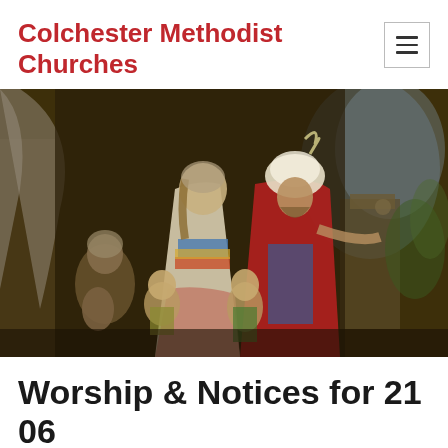Colchester Methodist Churches
[Figure (photo): Classical oil painting depicting a biblical scene with several figures: a woman in white dress with colorful sash, a bearded man in red robe and turban, an elderly woman in the background, and two young children. Set against a dark brown background with architectural elements and landscape.]
Worship & Notices for 21 06